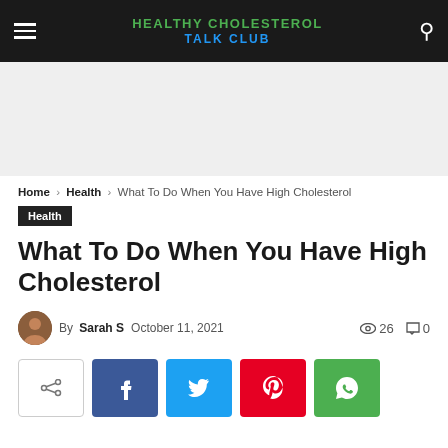HEALTHY CHOLESTEROL TALK CLUB
[Figure (other): Gray advertisement/banner placeholder area]
Home › Health › What To Do When You Have High Cholesterol
Health
What To Do When You Have High Cholesterol
By Sarah S  October 11, 2021  26 views  0 comments
[Figure (other): Social share buttons: share toggle, Facebook, Twitter, Pinterest, WhatsApp]